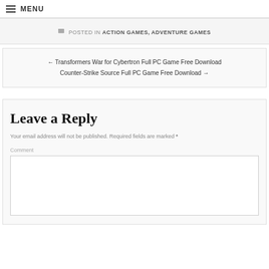≡ MENU
POSTED IN ACTION GAMES, ADVENTURE GAMES
← Transformers War for Cybertron Full PC Game Free Download
Counter-Strike Source Full PC Game Free Download →
Leave a Reply
Your email address will not be published. Required fields are marked *
Comment